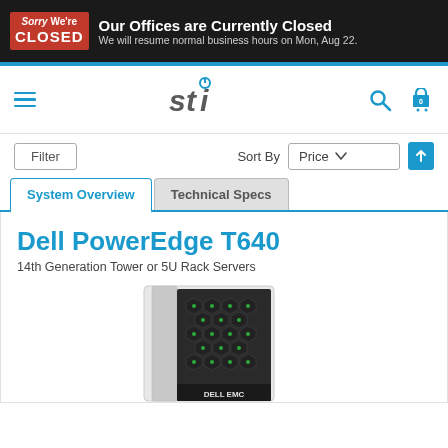Sorry We're CLOSED — Our Offices are Currently Closed. We will resume normal business hours on Mon, Aug 22.
[Figure (logo): STI company logo with power button icon]
Filter   Sort By   Price ↑
System Overview   Technical Specs
Dell PowerEdge T640
14th Generation Tower or 5U Rack Servers
[Figure (photo): Dell PowerEdge T640 tower server - dark tower server with hexagonal drive bays]